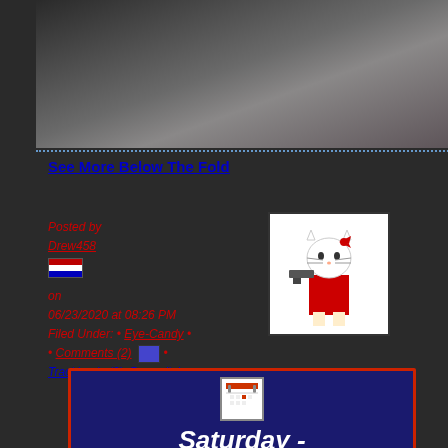[Figure (photo): Photo of a person with dark hair, cropped]
See More Below The Fold
Posted by Drew458 on 06/23/2020 at 08:26 PM Filed Under: • Eye-Candy • • Comments (2) • Trackbacks(0) Permalink •
[Figure (illustration): Hello Kitty character holding a gun, pixel art style]
[Figure (infographic): Saturday - May 23, 2020 calendar box]
WISHING HER A GREAT CAREER
Iraq The Model
Sgt. Stryker
GOVERNMENT
White House News
White House Press
Dept Of Defense
Dept Of State
Dept Of Homeland Security
National Security Council
CIA
FBI
NASA
US Supreme Court
US House
US Senate
US House Votes
US Senate Votes
RNC News
DNC News
On The Floor
US Government Reference
State Governments
America's Job Bank
LINKS
Inside Louisville
Search For It!
[Figure (logo): Google logo with trademark symbol]
Search (input field and button)